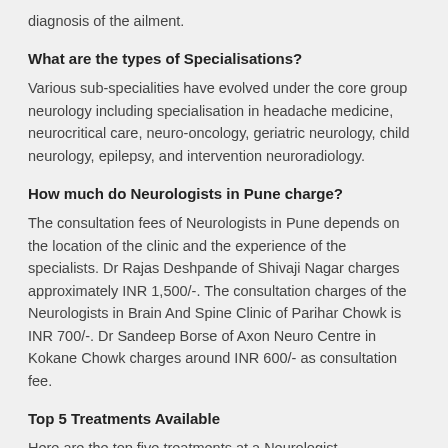diagnosis of the ailment.
What are the types of Specialisations?
Various sub-specialities have evolved under the core group neurology including specialisation in headache medicine, neurocritical care, neuro-oncology, geriatric neurology, child neurology, epilepsy, and intervention neuroradiology.
How much do Neurologists in Pune charge?
The consultation fees of Neurologists in Pune depends on the location of the clinic and the experience of the specialists. Dr Rajas Deshpande of Shivaji Nagar charges approximately INR 1,500/-. The consultation charges of the Neurologists in Brain And Spine Clinic of Parihar Chowk is INR 700/-. Dr Sandeep Borse of Axon Neuro Centre in Kokane Chowk charges around INR 600/- as consultation fee.
Top 5 Treatments Available
Here are the top five treatments at a Neurologist.
Lumbar Puncture.